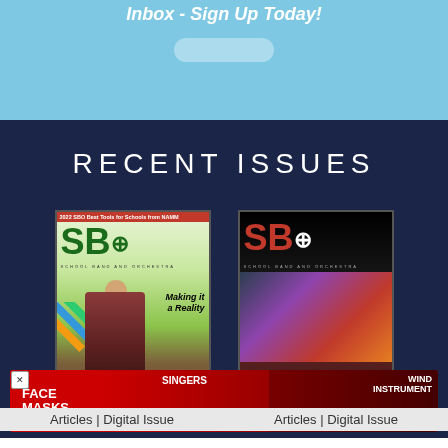Inbox - Sign Up Today!
RECENT ISSUES
[Figure (photo): SBO School Band and Orchestra magazine cover - 2022 Best Tools for Schools from NAMM, featuring man in suit with text 'Making it a Reality' and colorful diagonal stripes]
[Figure (photo): SBO School Band and Orchestra magazine cover featuring orchestra students with text 'All National Music and the Triumphant Robert W. Smith Music Festival']
[Figure (photo): Advertisement banner for Face Masks - Singers, Flute & Piccolo, Wind Instrument categories in red with photos of musicians]
Articles | Digital Issue
Articles | Digital Issue